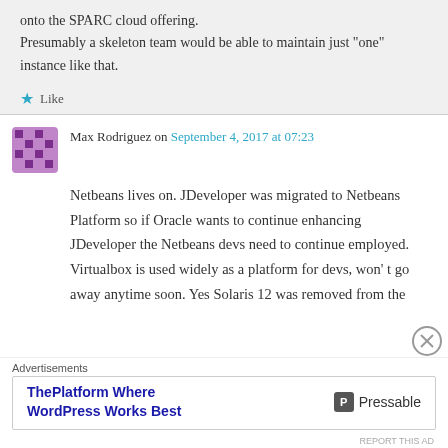Presumably a skeleton team would be able to maintain just “one” instance like that.
Like
Max Rodriguez on September 4, 2017 at 07:23
Netbeans lives on. JDeveloper was migrated to Netbeans Platform so if Oracle wants to continue enhancing JDeveloper the Netbeans devs need to continue employed. Virtualbox is used widely as a platform for devs, won’t go away anytime soon. Yes Solaris 12 was removed from the
Advertisements
ThePlatform Where WordPress Works Best
Pressable